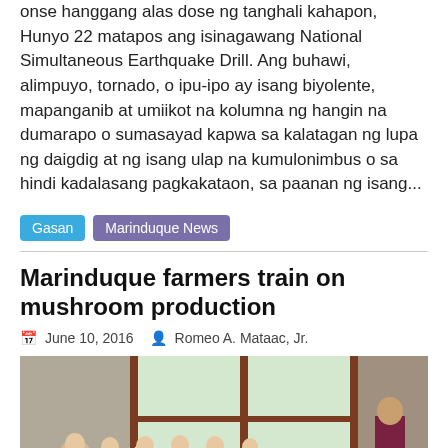onse hanggang alas dose ng tanghali kahapon, Hunyo 22 matapos ang isinagawang National Simultaneous Earthquake Drill. Ang buhawi, alimpuyo, tornado, o ipu-ipo ay isang biyolente, mapanganib at umiikot na kolumna ng hangin na dumarapo o sumasayad kapwa sa kalatagan ng lupa ng daigdig at ng isang ulap na kumulonimbus o sa hindi kadalasang pagkakataon, sa paanan ng isang...
Gasan
Marinduque News
Marinduque farmers train on mushroom production
June 10, 2016   Romeo A. Mataac, Jr.
[Figure (photo): A group of farmers seated and listening to a speaker standing at the right side of a room with large windows in the background.]